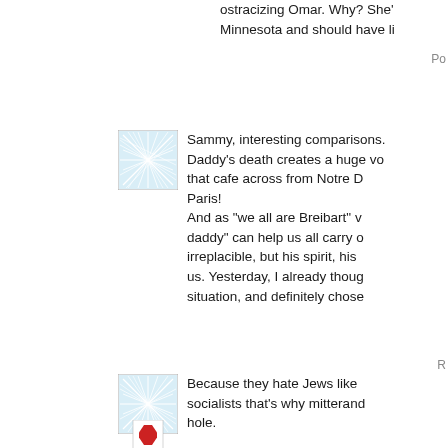ostracizing Omar. Why? She' Minnesota and should have li
Po
[Figure (illustration): Avatar icon with blue web/network pattern on white background with gray border]
Sammy, interesting comparisons. Daddy's death creates a huge void that cafe across from Notre D Paris! And as "we all are Breibart" w daddy" can help us all carry on irreplacible, but his spirit, his us. Yesterday, I already though situation, and definitely chose
R
[Figure (illustration): Avatar icon with blue web/network pattern on white background with gray border]
Because they hate Jews like socialists that's why mitterand hole.
[Figure (illustration): Avatar icon with red hexagonal stop-sign style icon on white background with gray border]